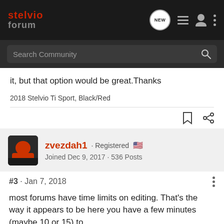stelvio forum
it, but that option would be great.Thanks
2018 Stelvio Ti Sport, Black/Red
zvezdah1 · Registered · Joined Dec 9, 2017 · 536 Posts
#3 · Jan 7, 2018
most forums have time limits on editing. That's the way it appears to be here you have a few minutes (maybe 10 or 15) to